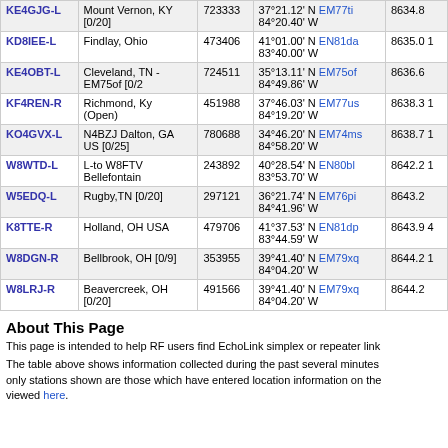| Callsign | Location | Node | Coordinates | Grid | Freq |
| --- | --- | --- | --- | --- | --- |
| KE4GJG-L | Mount Vernon, KY [0/20] | 723333 | 37°21.12' N 84°20.40' W | EM77ti | 8634.8 |
| KD8IEE-L | Findlay, Ohio | 473406 | 41°01.00' N 83°40.00' W | EN81da | 8635.0 |
| KE4OBT-L | Cleveland, TN - EM75of [0/2 | 724511 | 35°13.11' N 84°49.86' W | EM75of | 8636.6 |
| KF4REN-R | Richmond, Ky (Open) | 451988 | 37°46.03' N 84°19.20' W | EM77us | 8638.3 |
| KO4GVX-L | N4BZJ Dalton, GA US [0/25] | 780688 | 34°46.20' N 84°58.20' W | EM74ms | 8638.7 |
| W8WTD-L | L-to W8FTV Bellefontain | 243892 | 40°28.54' N 83°53.70' W | EN80bl | 8642.2 |
| W5EDQ-L | Rugby,TN [0/20] | 297121 | 36°21.74' N 84°41.96' W | EM76pi | 8643.2 |
| K8TTE-R | Holland, OH USA | 479706 | 41°37.53' N 83°44.59' W | EN81dp | 8643.9 |
| W8DGN-R | Bellbrook, OH [0/9] | 353955 | 39°41.40' N 84°04.20' W | EM79xq | 8644.2 |
| W8LRJ-R | Beavercreek, OH [0/20] | 491566 | 39°41.40' N 84°04.20' W | EM79xq | 8644.2 |
About This Page
This page is intended to help RF users find EchoLink simplex or repeater link nodes near a given location.
The table above shows information collected during the past several minutes from the EchoLink system. The only stations shown are those which have entered location information on the EchoLink system. A list of all nodes can be viewed here.